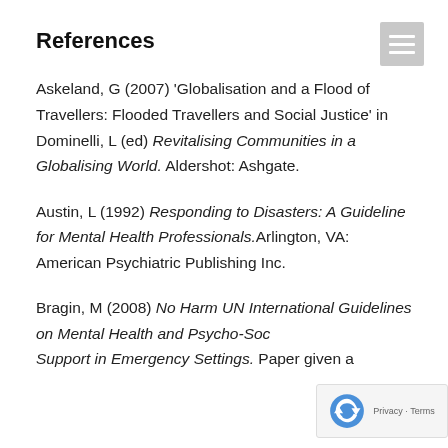References
Askeland, G (2007) ‘Globalisation and a Flood of Travellers: Flooded Travellers and Social Justice’ in Dominelli, L (ed) Revitalising Communities in a Globalising World. Aldershot: Ashgate.
Austin, L (1992) Responding to Disasters: A Guideline for Mental Health Professionals. Arlington, VA: American Psychiatric Publishing Inc.
Bragin, M (2008) No Harm UN International Guidelines on Mental Health and Psycho-Social Support in Emergency Settings. Paper given a…